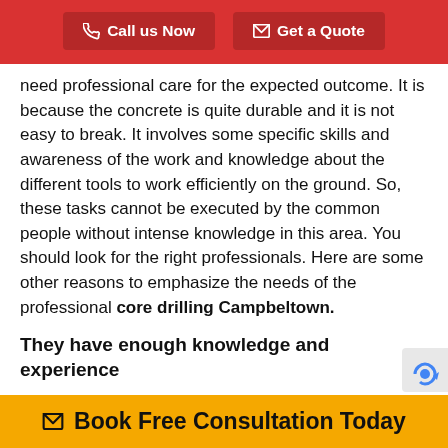Call us Now | Get a Quote
need professional care for the expected outcome. It is because the concrete is quite durable and it is not easy to break. It involves some specific skills and awareness of the work and knowledge about the different tools to work efficiently on the ground. So, these tasks cannot be executed by the common people without intense knowledge in this area. You should look for the right professionals. Here are some other reasons to emphasize the needs of the professional core drilling Campbeltown.
They have enough knowledge and experience
A professional concrete cutter will naturally have enough knowledge in this area as they have gone through lots of such works. They can understand the concrete and h…
Book Free Consultation Today